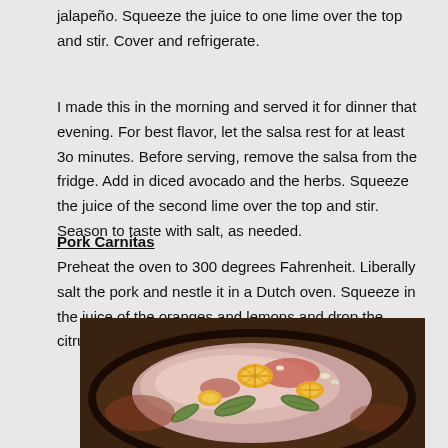jalapeño. Squeeze the juice to one lime over the top and stir. Cover and refrigerate.
I made this in the morning and served it for dinner that evening. For best flavor, let the salsa rest for at least 3o minutes. Before serving, remove the salsa from the fridge. Add in diced avocado and the herbs. Squeeze the juice of the second lime over the top and stir. Season to taste with salt, as needed.
Pork Carnitas
Preheat the oven to 300 degrees Fahrenheit. Liberally salt the pork and nestle it in a Dutch oven. Squeeze in the juice of the oranges and lemons and drop the citrus skins into the pot.
[Figure (photo): A pork roast in a Dutch oven with citrus slices and bay leaves, seen from above.]